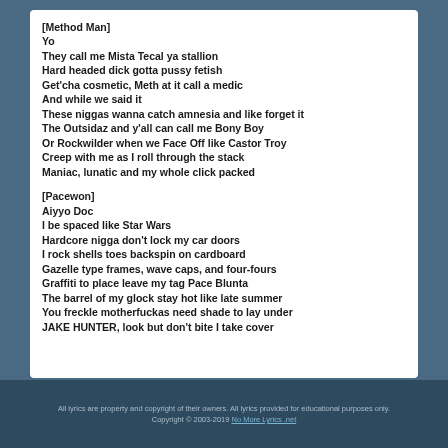[Method Man]
Yo
They call me Mista Tecal ya stallion
Hard headed dick gotta pussy fetish
Get'cha cosmetic, Meth at it call a medic
And while we said it
These niggas wanna catch amnesia and like forget it
The Outsidaz and y'all can call me Bony Boy
Or Rockwilder when we Face Off like Castor Troy
Creep with me as I roll through the stack
Maniac, lunatic and my whole click packed
[Pacewon]
Aiyyo Doc
I be spaced like Star Wars
Hardcore nigga don't lock my car doors
I rock shells toes backspin on cardboard
Gazelle type frames, wave caps, and four-fours
Graffiti to place leave my tag Pace Blunta
The barrel of my glock stay hot like late summer
You freckle motherfuckas need shade to lay under
JAKE HUNTER, look but don't bite I take cover
All lyrics are property and copyright of their owners. All lyrics provided for educational purposes only.
Copyright © 2003-2019 No More Lyrics .net